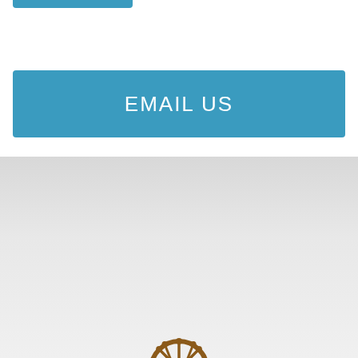[Figure (illustration): Blue button/bar at top of white card section]
EMAIL US
[Figure (illustration): Ship's wheel / helm icon, brown colored, centered in the gray section]
Store Hours
Open Daily 5am
BEGINNING 8/29 WE OPEN AT 6AM